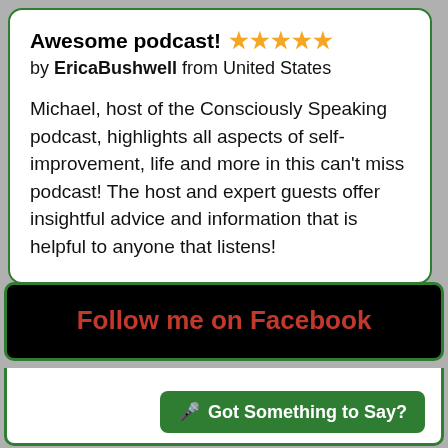Awesome podcast! ★★★★★
by EricaBushwell from United States
Michael, host of the Consciously Speaking podcast, highlights all aspects of self-improvement, life and more in this can't miss podcast! The host and expert guests offer insightful advice and information that is helpful to anyone that listens!
Follow me on Facebook
🎤 Got Something to Say?